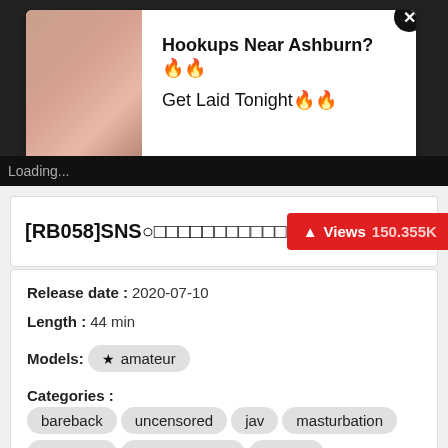[Figure (screenshot): Ad popup overlay on a dark background showing adult content advertisement with text 'Hookups Near Ashburn? Get Laid Tonight' and a close button. Loading... text visible at bottom.]
[RB058]SNS○○○○○○○○○○○○
Views 150.355K
Release date : 2020-07-10
Length : 44 min
Models: ★ amateur
Categories : bareback uncensored jav masturbation creampie reversecowgirl cowgirl
Studio : tokyo hot